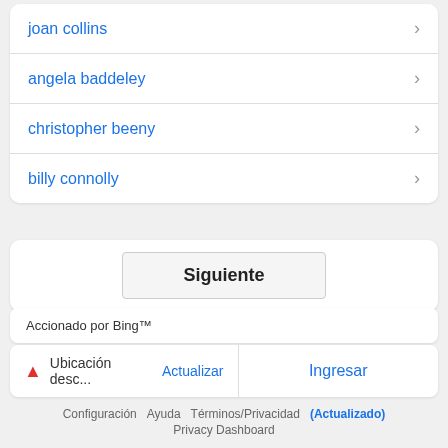joan collins
angela baddeley
christopher beeny
billy connolly
Siguiente
Accionado por Bing™
Ubicación desc... Actualizar   Ingresar
Configuración   Ayuda   Términos/Privacidad   (Actualizado)   Privacy Dashboard